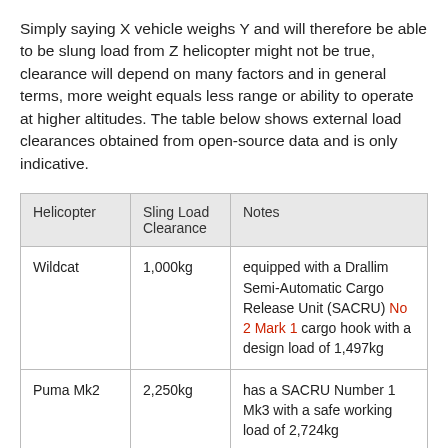Simply saying X vehicle weighs Y and will therefore be able to be slung load from Z helicopter might not be true, clearance will depend on many factors and in general terms, more weight equals less range or ability to operate at higher altitudes. The table below shows external load clearances obtained from open-source data and is only indicative.
| Helicopter | Sling Load Clearance | Notes |
| --- | --- | --- |
| Wildcat | 1,000kg | equipped with a Drallim Semi-Automatic Cargo Release Unit (SACRU) No 2 Mark 1 cargo hook with a design load of 1,497kg |
| Puma Mk2 | 2,250kg | has a SACRU Number 1 Mk3 with a safe working load of 2,724kg |